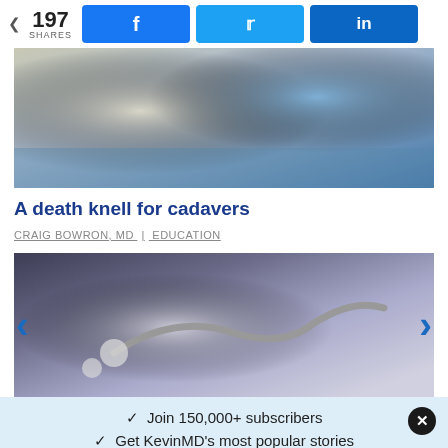197 SHARES | Facebook | Twitter | LinkedIn
[Figure (photo): Medical/cadaver related image with blue surgical gloves visible]
A death knell for cadavers
CRAIG BOWRON, MD | EDUCATION
[Figure (photo): Stethoscope on dark background]
✓ Join 150,000+ subscribers
✓ Get KevinMD's most popular stories
Email | Subscribe. It's free.